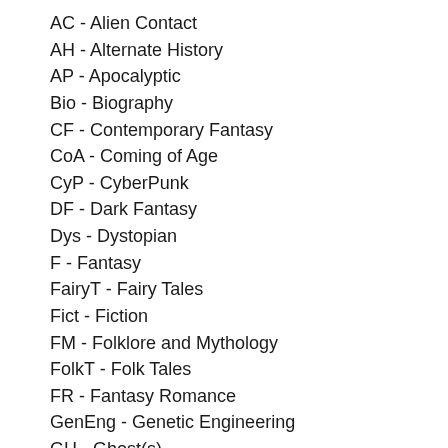AC - Alien Contact
AH - Alternate History
AP - Apocalyptic
Bio - Biography
CF - Contemporary Fantasy
CoA - Coming of Age
CyP - CyberPunk
DF - Dark Fantasy
Dys - Dystopian
F - Fantasy
FairyT - Fairy Tales
Fict - Fiction
FM - Folklore and Mythology
FolkT - Folk Tales
FR - Fantasy Romance
GenEng - Genetic Engineering
GH - Ghost(s)
Gothic - Gothic
H - Horror
HC - History and Criticism
Hist - Historical